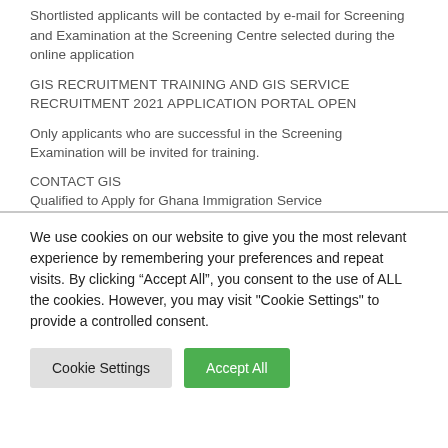Shortlisted applicants will be contacted by e-mail for Screening and Examination at the Screening Centre selected during the online application
GIS RECRUITMENT TRAINING AND GIS SERVICE RECRUITMENT 2021 APPLICATION PORTAL OPEN
Only applicants who are successful in the Screening Examination will be invited for training.
CONTACT GIS
Qualified to Apply for Ghana Immigration Service
We use cookies on our website to give you the most relevant experience by remembering your preferences and repeat visits. By clicking “Accept All”, you consent to the use of ALL the cookies. However, you may visit "Cookie Settings" to provide a controlled consent.